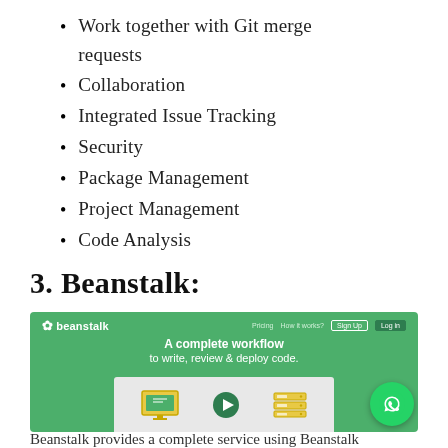Work together with Git merge requests
Collaboration
Integrated Issue Tracking
Security
Package Management
Project Management
Code Analysis
3. Beanstalk:
[Figure (screenshot): Screenshot of the Beanstalk website homepage showing a green background with the tagline 'A complete workflow to write, review & deploy code.' along with illustrated icons of a monitor, play button, and server rack. A WhatsApp contact button appears in the bottom right corner.]
Beanstalk provides a complete service using Beanstalk